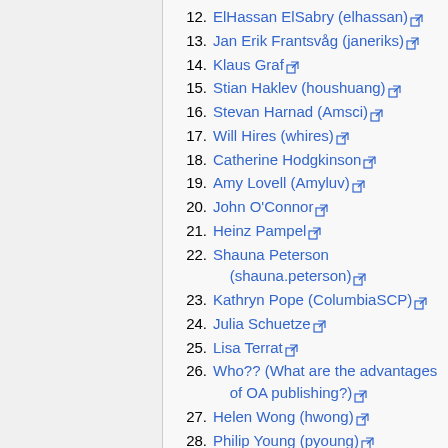12. ElHassan ElSabry (elhassan)
13. Jan Erik Frantsvåg (janeriks)
14. Klaus Graf
15. Stian Haklev (houshuang)
16. Stevan Harnad (Amsci)
17. Will Hires (whires)
18. Catherine Hodgkinson
19. Amy Lovell (Amyluv)
20. John O'Connor
21. Heinz Pampel
22. Shauna Peterson (shauna.peterson)
23. Kathryn Pope (ColumbiaSCP)
24. Julia Schuetze
25. Lisa Terrat
26. Who?? (What are the advantages of OA publishing?)
27. Helen Wong (hwong)
28. Philip Young (pyoung)